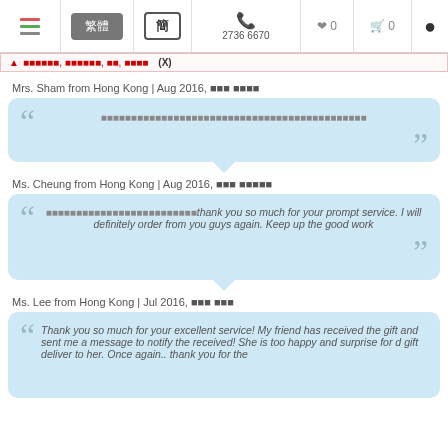Navigation bar with menu, button, simplified Chinese toggle, phone 2736 6670, heart 0, cart 0, user icon
▲ 聯絡我們, 訂單查詢, 關於, 付款方式 (X)
Mrs. Sham from Hong Kong | Aug 2016, 訂單 已確認
[garbled Chinese text quote]
Ms. Cheung from Hong Kong | Aug 2016, 訂單 已確認
[garbled Chinese text]thank you so much for your prompt service. I will definitely order from you guys again. Keep up the good work
Ms. Lee from Hong Kong | Jul 2016, 訂單 完成
Thank you so much for your excellent service! My friend has received the gift and sent me a message to notify the received! She is too happy and surprise for d gift deliver to her. Once again.. thank you for the